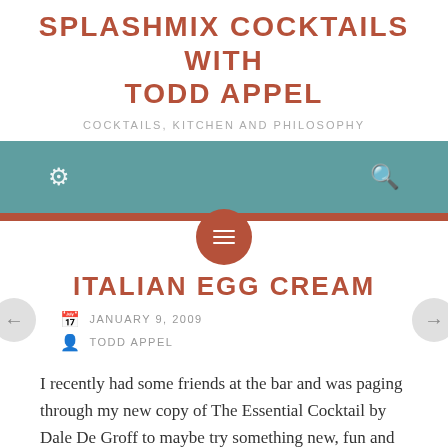SPLASHMIX COCKTAILS with TODD APPEL
COCKTAILS, KITCHEN AND PHILOSOPHY
[Figure (screenshot): Teal navigation bar with gear icon on left and search icon on right, with a rust/brown horizontal accent bar below and a circular menu button centered below the bar]
ITALIAN EGG CREAM
JANUARY 9, 2009
TODD APPEL
I recently had some friends at the bar and was paging through my new copy of The Essential Cocktail by Dale De Groff to maybe try something new, fun and sweeter for my friend Deborah from France...I love champagne